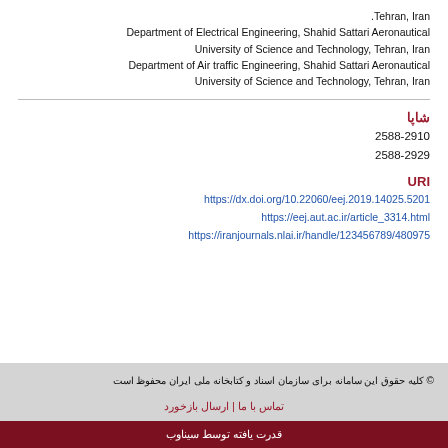Tehran, Iran
Department of Electrical Engineering, Shahid Sattari Aeronautical University of Science and Technology, Tehran, Iran
Department of Air traffic Engineering, Shahid Sattari Aeronautical University of Science and Technology, Tehran, Iran
شاپا
2588-2910
2588-2929
URI
https://dx.doi.org/10.22060/eej.2019.14025.5201
https://eej.aut.ac.ir/article_3314.html
https://iranjournals.nlai.ir/handle/123456789/480975
© کلیه حقوق این سامانه برای سازمان اسناد و کتابخانه ملی ایران محفوظ است
تماس با ما | ارسال بازخورد
قدرت یافته توسط سیناوب